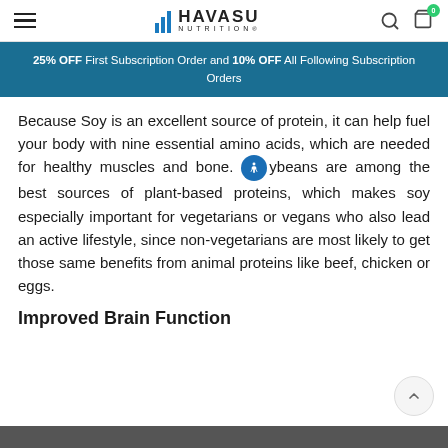HAVASU NUTRITION
25% OFF First Subscription Order and 10% OFF All Following Subscription Orders
Because Soy is an excellent source of protein, it can help fuel your body with nine essential amino acids, which are needed for healthy muscles and bone. Soybeans are among the best sources of plant-based proteins, which makes soy especially important for vegetarians or vegans who also lead an active lifestyle, since non-vegetarians are most likely to get those same benefits from animal proteins like beef, chicken or eggs.
Improved Brain Function
[Figure (photo): Dark image bar at bottom of page, partial view of a product or nutrition-related image]